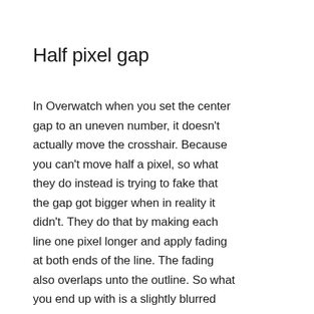Half pixel gap
In Overwatch when you set the center gap to an uneven number, it doesn't actually move the crosshair. Because you can't move half a pixel, so what they do instead is trying to fake that the gap got bigger when in reality it didn't. They do that by making each line one pixel longer and apply fading at both ends of the line. The fading also overlaps unto the outline. So what you end up with is a slightly blurred version of the crosshair.